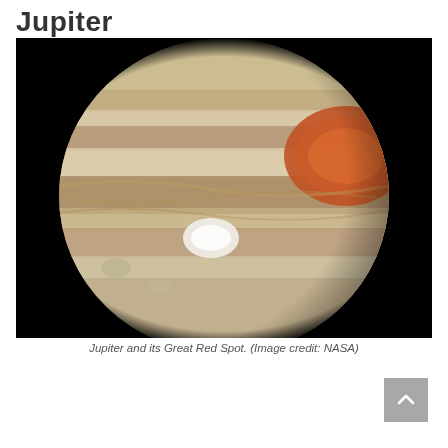Jupiter
[Figure (photo): Photograph of Jupiter showing its banded cloud patterns, the Great Red Spot (large orange-red storm in upper right), and a smaller white oval storm. The planet is set against a black space background. Image credit: NASA.]
Jupiter and its Great Red Spot. (Image credit: NASA)